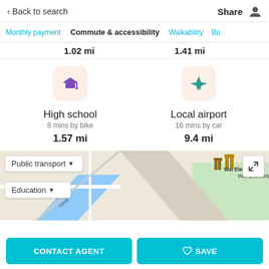< Back to search    Share
Monthly payment  Commute & accessibility  Walkability  Bu
1.02 mi    1.41 mi
[Figure (infographic): High school icon (graduation cap, purple) in peach rounded square]
High school
8 mins by bike
1.57 mi
[Figure (infographic): Local airport icon (airplane, teal) in peach rounded square]
Local airport
16 mins by car
9.4 mi
[Figure (map): Map showing Wai Elementary and Iolani School locations with Public transport and Education filter dropdowns]
Public transport ▾
Education ▾
CONTACT AGENT
♡ SAVE